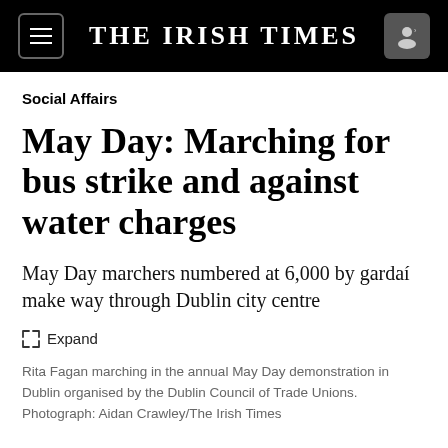THE IRISH TIMES
Social Affairs
May Day: Marching for bus strike and against water charges
May Day marchers numbered at 6,000 by gardaí make way through Dublin city centre
Rita Fagan marching in the annual May Day demonstration in Dublin organised by the Dublin Council of Trade Unions. Photograph: Aidan Crawley/The Irish Times